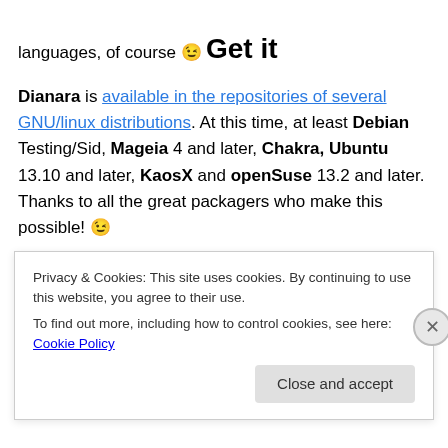languages, of course 😉
Get it
Dianara is available in the repositories of several GNU/linux distributions. At this time, at least Debian Testing/Sid, Mageia 4 and later, Chakra, Ubuntu 13.10 and later, KaosX and openSuse 13.2 and later. Thanks to all the great packagers who make this possible! 😉
You can find F… (partial, cut off)
Privacy & Cookies: This site uses cookies. By continuing to use this website, you agree to their use.
To find out more, including how to control cookies, see here: Cookie Policy